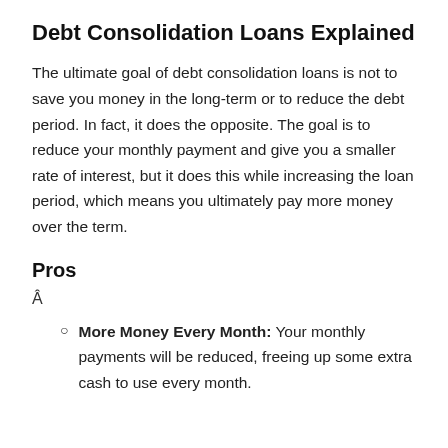Debt Consolidation Loans Explained
The ultimate goal of debt consolidation loans is not to save you money in the long-term or to reduce the debt period. In fact, it does the opposite. The goal is to reduce your monthly payment and give you a smaller rate of interest, but it does this while increasing the loan period, which means you ultimately pay more money over the term.
Pros
Â
More Money Every Month: Your monthly payments will be reduced, freeing up some extra cash to use every month.